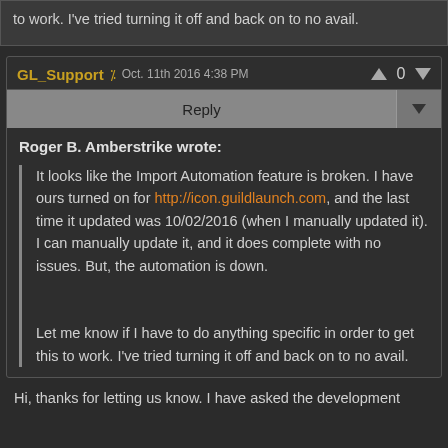to work. I've tried turning it off and back on to no avail.
GL_Support % Oct. 11th 2016 4:38 PM   0
Reply
Roger B. Amberstrike wrote:
It looks like the Import Automation feature is broken. I have ours turned on for http://icon.guildlaunch.com, and the last time it updated was 10/02/2016 (when I manually updated it). I can manually update it, and it does complete with no issues. But, the automation is down.

Let me know if I have to do anything specific in order to get this to work. I've tried turning it off and back on to no avail.
Hi, thanks for letting us know. I have asked the development